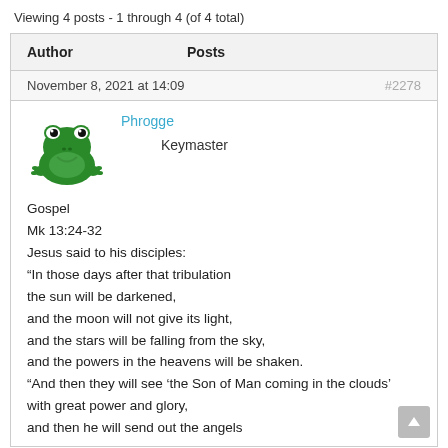Viewing 4 posts - 1 through 4 (of 4 total)
| Author | Posts |
| --- | --- |
November 8, 2021 at 14:09   #2278
Phrogge
Keymaster
[Figure (illustration): Green cartoon frog avatar image]
Gospel
Mk 13:24-32
Jesus said to his disciples:
“In those days after that tribulation
the sun will be darkened,
and the moon will not give its light,
and the stars will be falling from the sky,
and the powers in the heavens will be shaken.
“And then they will see ‘the Son of Man coming in the clouds’
with great power and glory,
and then he will send out the angels